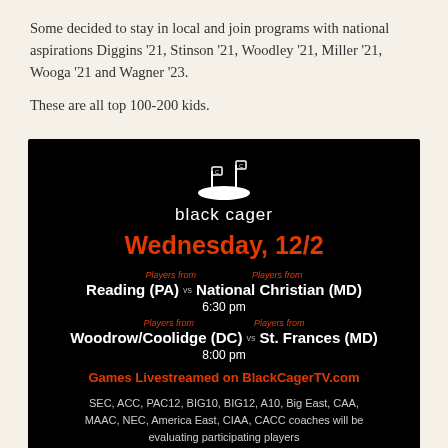Some decided to stay in local and join programs with national aspirations Diggins '21, Stinson '21, Woodley '21, Miller '21, Wooga '21 and Wagner '23.
These are all top 100-200 kids.
[Figure (infographic): Black Cager event flyer for Wednesday 12/2 featuring two basketball games: Reading (PA) vs National Christian (MD) at 6:30 pm, and Woodrow/Coolidge (DC) vs St. Frances (MD) at 8:00 pm. Games livestreamed on BlackCagerTV.com. SEC, ACC, PAC12, BIG10, BIG12, A10, Big East, CAA, MAAC, NEC, America East, CIAA, CACC coaches will be evaluating participating players.]